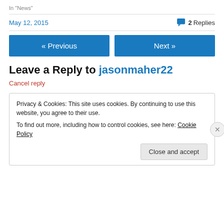In "News"
May 12, 2015   💬 2 Replies
« Previous
Next »
Leave a Reply to jasonmaher22
Cancel reply
Privacy & Cookies: This site uses cookies. By continuing to use this website, you agree to their use.
To find out more, including how to control cookies, see here: Cookie Policy
Close and accept